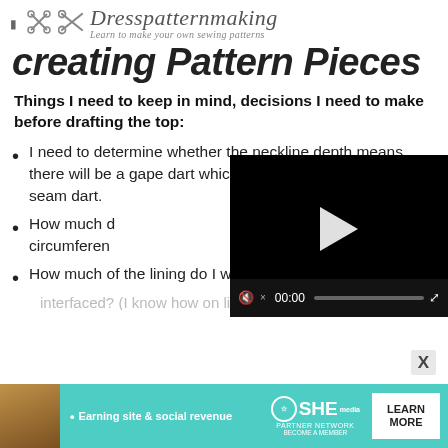Dresspatternmaking — Learn to make your own sewing patterns
creating Pattern Pieces
Things I need to keep in mind, decisions I need to make before drafting the top:
I need to determine whether the neckline depth means there will be a gape dart which needs to be converted to a seam dart.
[Figure (screenshot): Embedded video player with black background, play button, progress bar, and 00:00 timestamp]
How much d... circumferen...
How much of the lining do I want interfaced? (I know how on light weight the...
[Figure (infographic): Advertisement banner: SHE Partner Network — Earning site and social revenue — LEARN MORE button]